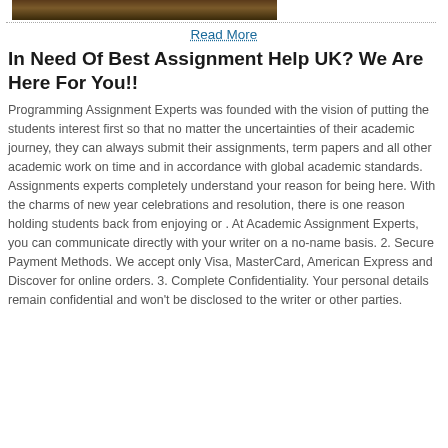[Figure (photo): Partial photo strip at top of page showing people, cropped]
Read More
In Need Of Best Assignment Help UK? We Are Here For You!!
Programming Assignment Experts was founded with the vision of putting the students interest first so that no matter the uncertainties of their academic journey, they can always submit their assignments, term papers and all other academic work on time and in accordance with global academic standards. Assignments experts completely understand your reason for being here. With the charms of new year celebrations and resolution, there is one reason holding students back from enjoying or . At Academic Assignment Experts, you can communicate directly with your writer on a no-name basis. 2. Secure Payment Methods. We accept only Visa, MasterCard, American Express and Discover for online orders. 3. Complete Confidentiality. Your personal details remain confidential and won't be disclosed to the writer or other parties.